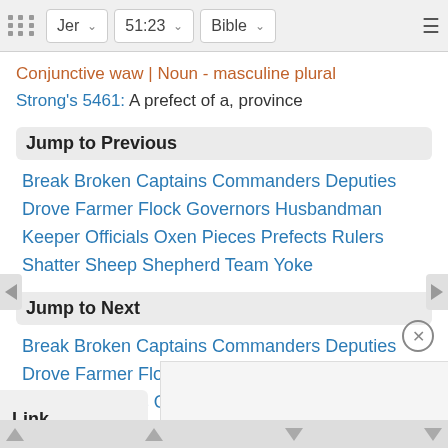Jer  51:23  Bible
Conjunctive waw | Noun - masculine plural
Strong's 5461: A prefect of a, province
Jump to Previous
Break Broken Captains Commanders Deputies Drove Farmer Flock Governors Husbandman Keeper Officials Oxen Pieces Prefects Rulers Shatter Sheep Shepherd Team Yoke
Jump to Next
Break Broken Captains Commanders Deputies Drove Farmer Flock Governors Husbandman Keeper Officials Oxen Pieces Prefects Rulers Shatter Sheep Shepherd Team Yoke
Link